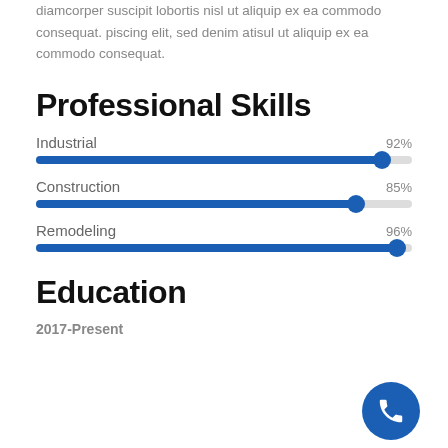diamcorper suscipit lobortis nisl ut aliquip ex ea commodo consequat. piscing elit, sed denim atisul ut aliquip ex ea commodo consequat.
Professional Skills
[Figure (infographic): Slider bar for Industrial skill at 92%]
[Figure (infographic): Slider bar for Construction skill at 85%]
[Figure (infographic): Slider bar for Remodeling skill at 96%]
Education
2017-Present